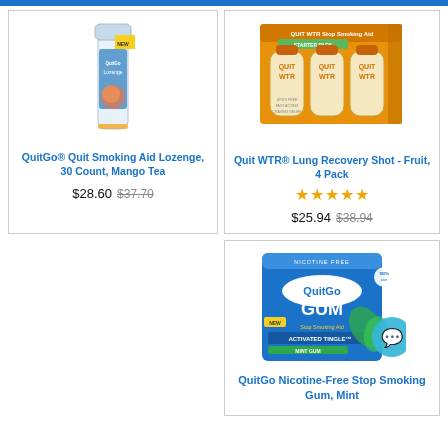[Figure (photo): Product listing page with three smoking cessation aid products: QuitGo lozenges, Quit WTR lung recovery shots, and QuitGo gum]
QuitGo® Quit Smoking Aid Lozenge, 30 Count, Mango Tea
$28.60 $37.70
Quit WTR® Lung Recovery Shot - Fruit, 4 Pack
$25.94 $38.94
QuitGo Nicotine-Free Stop Smoking Gum, Mint